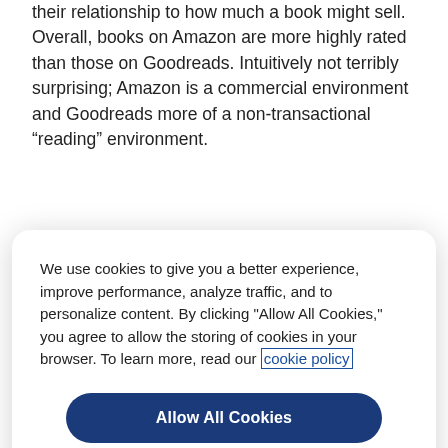their relationship to how much a book might sell. Overall, books on Amazon are more highly rated than those on Goodreads. Intuitively not terribly surprising; Amazon is a commercial environment and Goodreads more of a non-transactional “reading” environment.
High selling titles or bestsellers with an Amazon rank between 1 and 1,000 have a tighter distribution of star
We use cookies to give you a better experience, improve performance, analyze traffic, and to personalize content. By clicking "Allow All Cookies," you agree to allow the storing of cookies in your browser. To learn more, read our cookie policy
Allow All Cookies
Cookie Preferences
doesn't happen. In fact, very few top selling books have